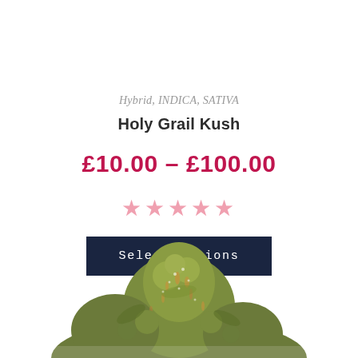Hybrid, INDICA, SATIVA
Holy Grail Kush
£10.00 – £100.00
★★★★★
Select options
[Figure (photo): Cannabis bud (Holy Grail Kush) photographed against a white background, showing dense green and yellow-brown flower clusters at the bottom of the page.]